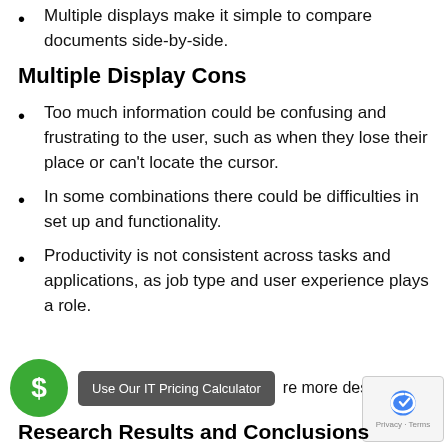Multiple displays make it simple to compare documents side-by-side.
Multiple Display Cons
Too much information could be confusing and frustrating to the user, such as when they lose their place or can't locate the cursor.
In some combinations there could be difficulties in set up and functionality.
Productivity is not consistent across tasks and applications, as job type and user experience plays a role.
re more desk s
Research Results and Conclusions